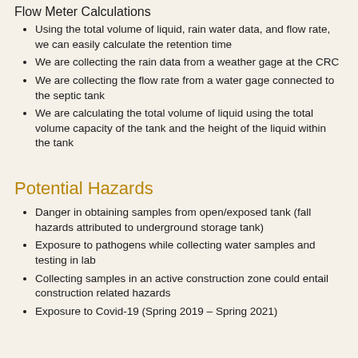Flow Meter Calculations
Using the total volume of liquid, rain water data, and flow rate, we can easily calculate the retention time
We are collecting the rain data from a weather gage at the CRC
We are collecting the flow rate from a water gage connected to the septic tank
We are calculating the total volume of liquid using the total volume capacity of the tank and the height of the liquid within the tank
Potential Hazards
Danger in obtaining samples from open/exposed tank (fall hazards attributed to underground storage tank)
Exposure to pathogens while collecting water samples and testing in lab
Collecting samples in an active construction zone could entail construction related hazards
Exposure to Covid-19 (Spring 2019 – Spring 2021)